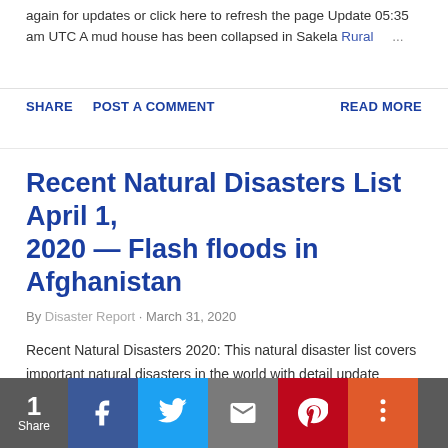again for updates or click here to refresh the page Update 05:35 am UTC A mud house has been collapsed in Sakela Rural ...
SHARE   POST A COMMENT   READ MORE
Recent Natural Disasters List April 1, 2020 — Flash floods in Afghanistan
By Disaster Report · March 31, 2020
Recent Natural Disasters 2020: This natural disaster list covers important natural disasters in the world with detail update report. Keep this page open or visit later to get update report. Check Worldwide Natural Disasters List + Detail Report Major Nat...
1 Share [Facebook] [Twitter] [Email] [Pinterest] [More]